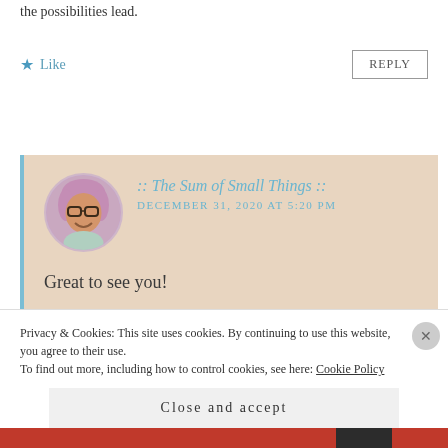the possibilities lead.
Like
REPLY
:: The Sum of Small Things ::
DECEMBER 31, 2020 AT 5:20 PM
Great to see you!
Like
REPLY
Privacy & Cookies: This site uses cookies. By continuing to use this website, you agree to their use.
To find out more, including how to control cookies, see here: Cookie Policy
Close and accept